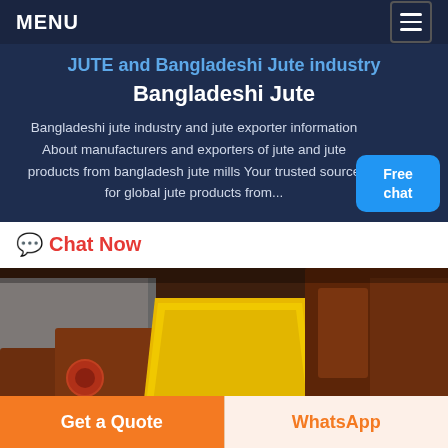MENU
JUTE and Bangladeshi Jute industry Bangladeshi Jute
Bangladeshi jute industry and jute exporter information About manufacturers and exporters of jute and jute products from bangladesh jute mills Your trusted source for global jute products from...
Chat Now
[Figure (photo): Industrial machinery with a yellow metal trough/conveyor component and dark red/brown machinery in a factory setting]
Get a Quote
WhatsApp